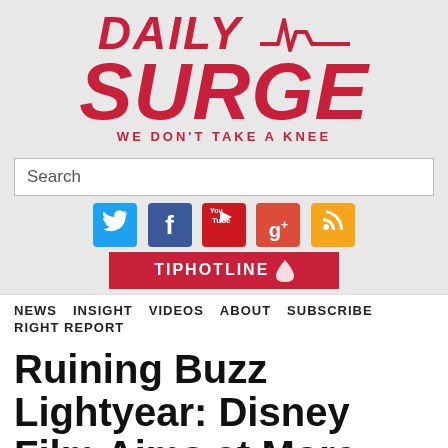[Figure (logo): Daily Surge logo with ECG line graphic and tagline WE DON'T TAKE A KNEE]
Search
[Figure (infographic): Social media icons: Twitter, Facebook, YouTube, Google+, RSS]
[Figure (logo): TIP HOTLINE button/banner]
NEWS  INSIGHT  VIDEOS  ABOUT  SUBSCRIBE  RIGHT REPORT
Ruining Buzz Lightyear: Disney Film Aims at More